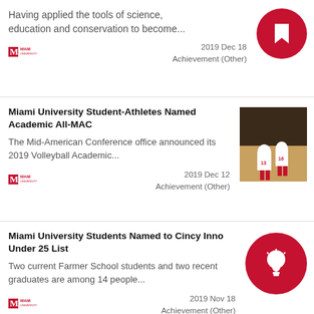Having applied the tools of science, education and conservation to become...
[Figure (logo): Miami University M logo]
2019 Dec 18
Achievement (Other)
Miami University Student-Athletes Named Academic All-MAC
The Mid-American Conference office announced its 2019 Volleyball Academic...
[Figure (photo): Volleyball players wearing jerseys #13 and #16 during a match]
[Figure (logo): Miami University M logo]
2019 Dec 12
Achievement (Other)
Miami University Students Named to Cincy Inno Under 25 List
Two current Farmer School students and two recent graduates are among 14 people...
[Figure (illustration): Red circle with white lightbulb icon]
[Figure (logo): Miami University M logo]
2019 Nov 18
Achievement (Other)